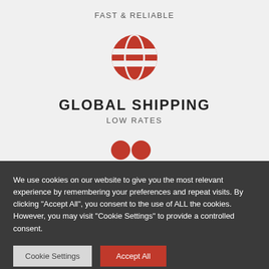FAST & RELIABLE
[Figure (illustration): Red globe icon with latitude and longitude lines]
GLOBAL SHIPPING
LOW RATES
[Figure (illustration): Two red circles (dots, part of a carousel or icon row)]
We use cookies on our website to give you the most relevant experience by remembering your preferences and repeat visits. By clicking "Accept All", you consent to the use of ALL the cookies. However, you may visit "Cookie Settings" to provide a controlled consent.
Cookie Settings
Accept All